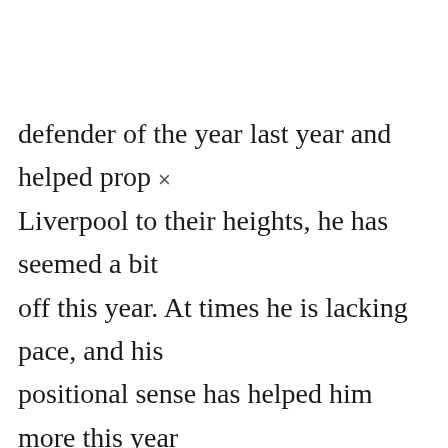defender of the year last year and helped prop Liverpool to their heights, he has seemed a bit off this year. At times he is lacking pace, and his positional sense has helped him more this year than previous. Alisson being back in first-team training is a huge boost because there is no comparison between him and Adrian. Salah and Matip are going to game-time decisions, but even without them, I wouldn't put it past Liverpool to take Manchester United to pieces.